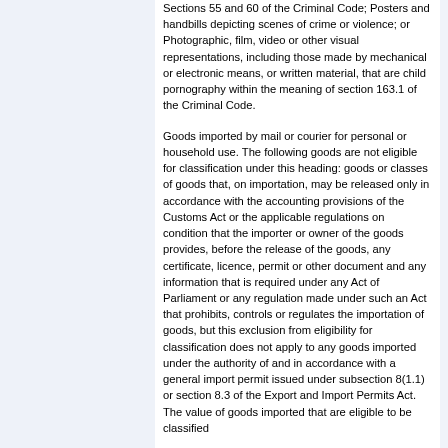Sections 55 and 60 of the Criminal Code; Posters and handbills depicting scenes of crime or violence; or Photographic, film, video or other visual representations, including those made by mechanical or electronic means, or written material, that are child pornography within the meaning of section 163.1 of the Criminal Code.
Goods imported by mail or courier for personal or household use. The following goods are not eligible for classification under this heading: goods or classes of goods that, on importation, may be released only in accordance with the accounting provisions of the Customs Act or the applicable regulations on condition that the importer or owner of the goods provides, before the release of the goods, any certificate, licence, permit or other document and any information that is required under any Act of Parliament or any regulation made under such an Act that prohibits, controls or regulates the importation of goods, but this exclusion from eligibility for classification does not apply to any goods imported under the authority of and in accordance with a general import permit issued under subsection 8(1.1) or section 8.3 of the Export and Import Permits Act. The value of goods imported that are eligible to be classified